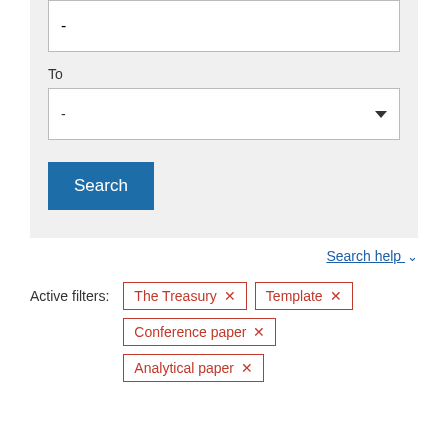-
To
-
Search
Search help
Active filters:
The Treasury ×
Template ×
Conference paper ×
Analytical paper ×